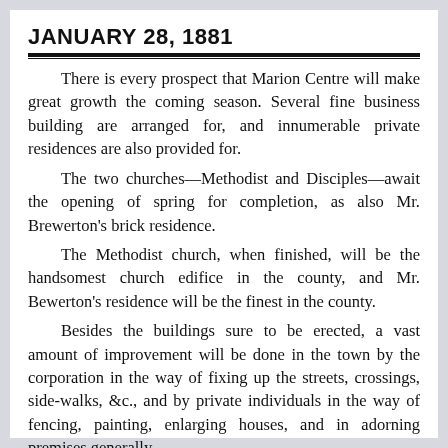JANUARY 28, 1881
There is every prospect that Marion Centre will make great growth the coming season. Several fine business building are arranged for, and innumerable private residences are also provided for.
The two churches—Methodist and Disciples—await the opening of spring for completion, as also Mr. Brewerton's brick residence.
The Methodist church, when finished, will be the handsomest church edifice in the county, and Mr. Bewerton's residence will be the finest in the county.
Besides the buildings sure to be erected, a vast amount of improvement will be done in the town by the corporation in the way of fixing up the streets, crossings, side-walks, &c., and by private individuals in the way of fencing, painting, enlarging houses, and in adorning premises generally.